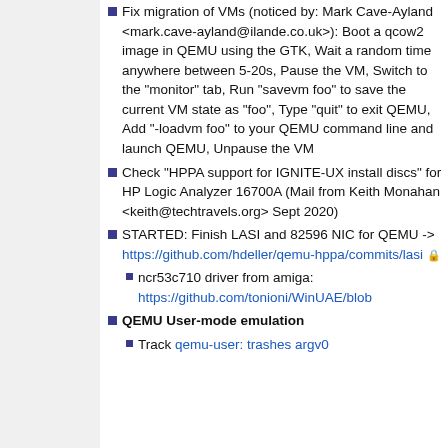Fix migration of VMs (noticed by: Mark Cave-Ayland <mark.cave-ayland@ilande.co.uk>): Boot a qcow2 image in QEMU using the GTK, Wait a random time anywhere between 5-20s, Pause the VM, Switch to the "monitor" tab, Run "savevm foo" to save the current VM state as "foo", Type "quit" to exit QEMU, Add "-loadvm foo" to your QEMU command line and launch QEMU, Unpause the VM
Check "HPPA support for IGNITE-UX install discs" for HP Logic Analyzer 16700A (Mail from Keith Monahan <keith@techtravels.org> Sept 2020)
STARTED: Finish LASI and 82596 NIC for QEMU -> https://github.com/hdeller/qemu-hppa/commits/lasi
ncr53c710 driver from amiga: https://github.com/tonioni/WinUAE/blob
QEMU User-mode emulation
Track qemu-user: trashes argv0